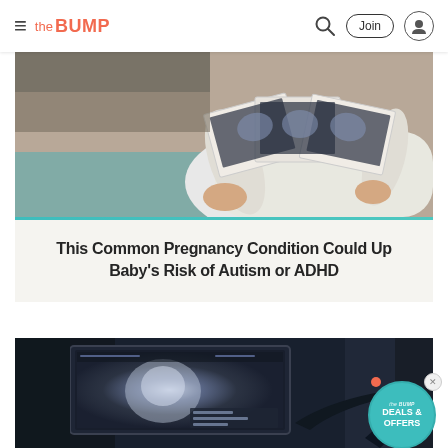the BUMP — navigation header with hamburger menu, search, Join button, and profile icon
[Figure (photo): Person holding multiple ultrasound photos/printouts, wearing a white sweater, sitting on a teal surface]
This Common Pregnancy Condition Could Up Baby's Risk of Autism or ADHD
[Figure (photo): Ultrasound monitor screen showing a fetal scan in a dark clinical setting, with ultrasound probe visible]
[Figure (other): The Bump Deals & Offers badge/widget in teal circle with close button]